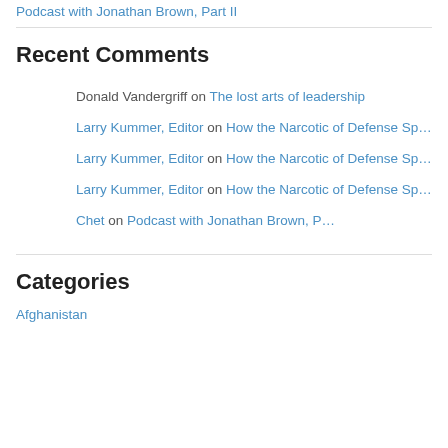Podcast with Jonathan Brown, Part II
Recent Comments
Donald Vandergriff on The lost arts of leadership
Larry Kummer, Editor on How the Narcotic of Defense Sp...
Larry Kummer, Editor on How the Narcotic of Defense Sp...
Larry Kummer, Editor on How the Narcotic of Defense Sp...
Chet on Podcast with Jonathan Brown, P...
Categories
Afghanistan